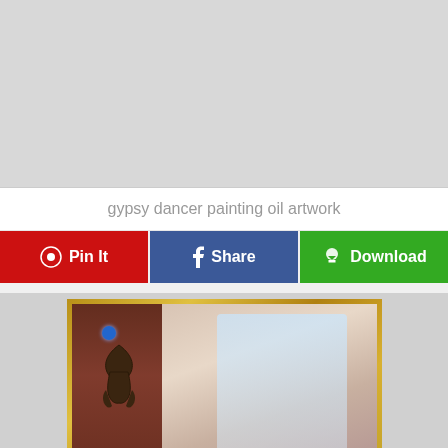[Figure (other): Gray placeholder image area at top of page]
gypsy dancer painting oil artwork
Pin It | Share | Download (action buttons)
[Figure (photo): Photo of a framed painting with gold frame, showing a gypsy dancer woman wearing a sparkling blue headdress, with a decorative metal ornament on the left side of the frame with a blue gem]